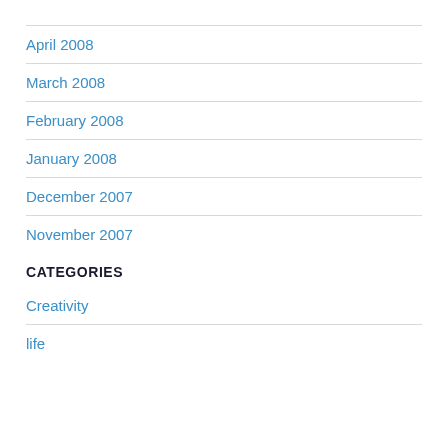April 2008
March 2008
February 2008
January 2008
December 2007
November 2007
CATEGORIES
Creativity
life